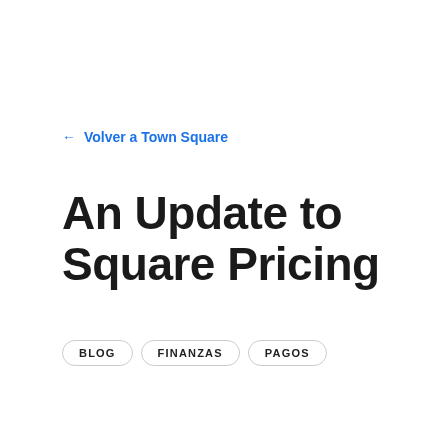← Volver a Town Square
An Update to Square Pricing
BLOG
FINANZAS
PAGOS